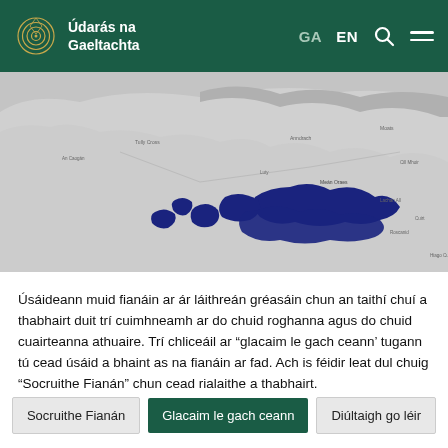Údarás na Gaeltachta
[Figure (map): A geographic map showing the Gaeltacht regions of Ireland in western Ireland, with highlighted dark blue areas indicating Irish-speaking districts along the western coast and islands.]
Úsáideann muid fianáin ar ár láithreán gréasáin chun an taithí chuí a thabhairt duit trí cuimhneamh ar do chuid roghanna agus do chuid cuairteanna athuaire. Trí chliceáil ar "glacaim le gach ceann' tugann tú cead úsáid a bhaint as na fianáin ar fad. Ach is féidir leat dul chuig "Socruithe Fianán" chun cead rialaithe a thabhairt.
Socruithe Fianán
Glacaim le gach ceann
Diúltaigh go léir